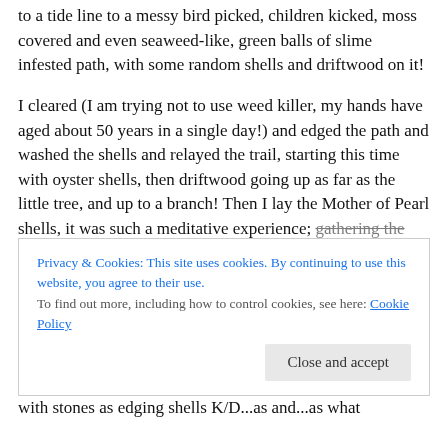to a tide line to a messy bird picked, children kicked, moss covered and even seaweed-like, green balls of slime infested path, with some random shells and driftwood on it!
I cleared (I am trying not to use weed killer, my hands have aged about 50 years in a single day!) and edged the path and washed the shells and relayed the trail, starting this time with oyster shells, then driftwood going up as far as the little tree, and up to a branch! Then I lay the Mother of Pearl shells, it was such a meditative experience; gathering the shells then washing them and laying them
Privacy & Cookies: This site uses cookies. By continuing to use this website, you agree to their use.
To find out more, including how to control cookies, see here: Cookie Policy
Close and accept
with stones as edging shells K/D...as and...as what